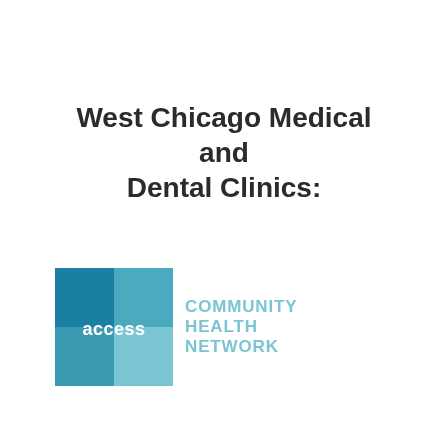West Chicago Medical and Dental Clinics:
[Figure (logo): Access Community Health Network logo — a teal/blue square divided into four quadrants with the word ACCESS in white, followed by COMMUNITY HEALTH NETWORK in light teal text]